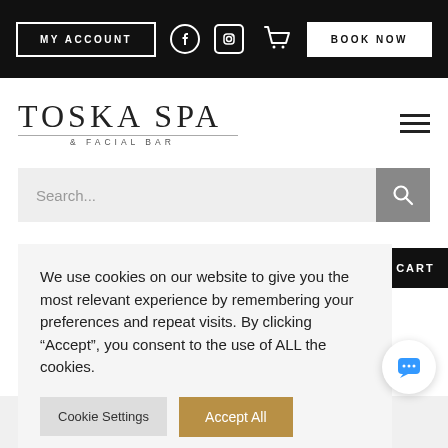MY ACCOUNT | BOOK NOW | Facebook | Instagram | Cart
TOSKA SPA & FACIAL BAR
Search...
TO CART
We use cookies on our website to give you the most relevant experience by remembering your preferences and repeat visits. By clicking “Accept”, you consent to the use of ALL the cookies.
Cookie Settings | Accept All
[Figure (photo): Partial product bottle with beige/gold cap and dark body with ELIXIR GLACIER text visible]
[Figure (photo): Partial product bottles visible at bottom of page]